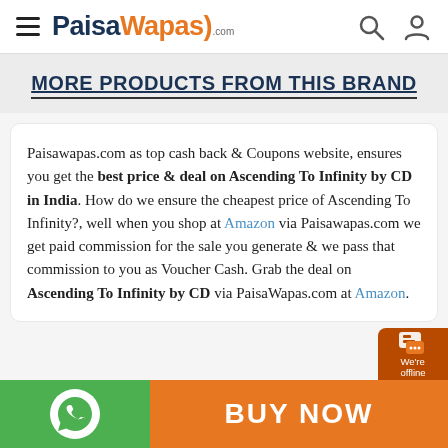PaisaWapas.com - header with hamburger menu, search, and user icons
MORE PRODUCTS FROM THIS BRAND
Paisawapas.com as top cash back & Coupons website, ensures you get the best price & deal on Ascending To Infinity by CD in India. How do we ensure the cheapest price of Ascending To Infinity?, well when you shop at Amazon via Paisawapas.com we get paid commission for the sale you generate & we pass that commission to you as Voucher Cash. Grab the deal on Ascending To Infinity by CD via PaisaWapas.com at Amazon.
[Figure (screenshot): Bottom bar with WhatsApp icon on green background, BUY NOW text on orange background, and offline chat bubble]
[Figure (logo): We're offline chat widget icon in bottom right]